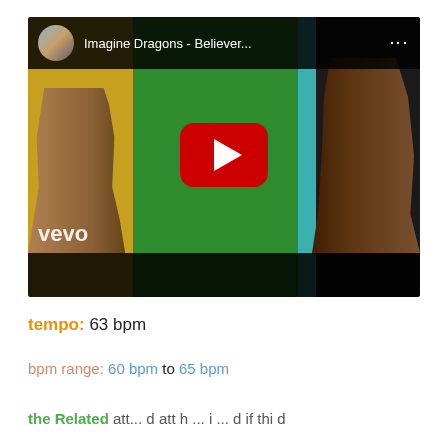[Figure (screenshot): YouTube video thumbnail for 'Imagine Dragons - Believer...' showing two fighters facing each other against a green background, with a YouTube play button overlay and vevo watermark]
tempo: 63 bpm
bpm range: 60 bpm to 65 bpm
the Related att... d att h ... i ... d if thi d